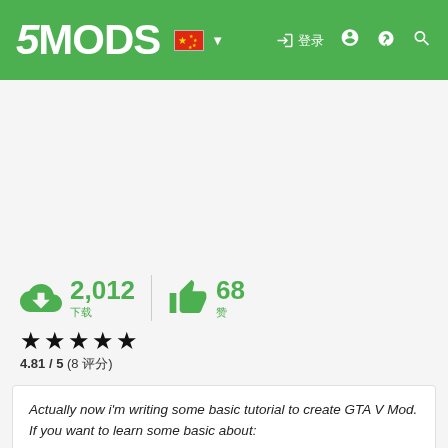5MODS
[Figure (screenshot): Gray spacer / advertisement area]
2,012 downloads | 68 likes
4.81 / 5 (8 ratings)
Actually now i'm writing some basic tutorial to create GTA V Mod. If you want to learn some basic about:
- Scripting
- Creating a Vehicle mod
- Texture editing
- Messing with RPF file